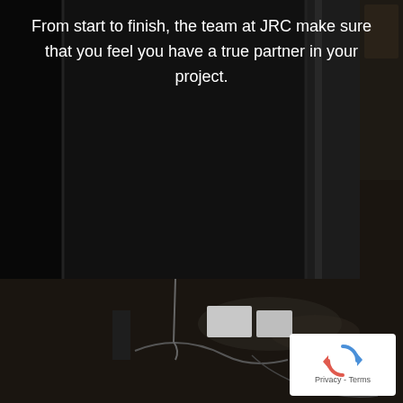[Figure (photo): Dark interior room photograph showing a dimly lit space with what appears to be walls, a window area with dark frames, and a floor with some cables or wires visible in the lower portion. The image is very dark with minimal lighting.]
From start to finish, the team at JRC make sure that you feel you have a true partner in your project.
[Figure (logo): Google reCAPTCHA badge with spinning arrow logo icon in blue and red, with Privacy and Terms links below.]